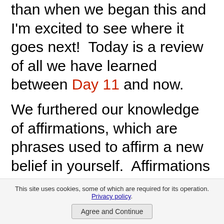than when we began this and I'm excited to see where it goes next!  Today is a review of all we have learned between Day 11 and now.
We furthered our knowledge of affirmations, which are phrases used to affirm a new belief in yourself.  Affirmations are meant to be repeated many times with the feeling of them being true.  We have learned that affirmations are recommended by almost all personal development coaches because of the successful results they often bring.  We can use affirmations for anything in our lives, but our purpose right now is to focus on the law of attraction.  Here's a few affirmations we can use:
This site uses cookies, some of which are required for its operation. Privacy policy